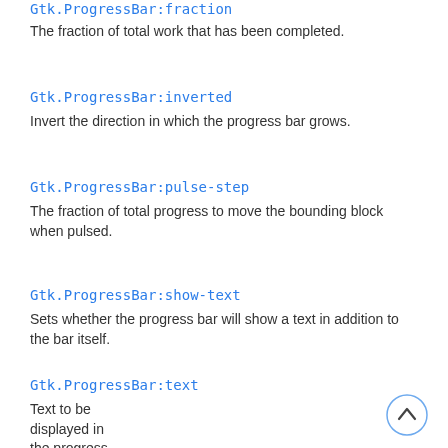Gtk.ProgressBar:fraction
The fraction of total work that has been completed.
Gtk.ProgressBar:inverted
Invert the direction in which the progress bar grows.
Gtk.ProgressBar:pulse-step
The fraction of total progress to move the bounding block when pulsed.
Gtk.ProgressBar:show-text
Sets whether the progress bar will show a text in addition to the bar itself.
Gtk.ProgressBar:text
Text to be displayed in the progress bar.